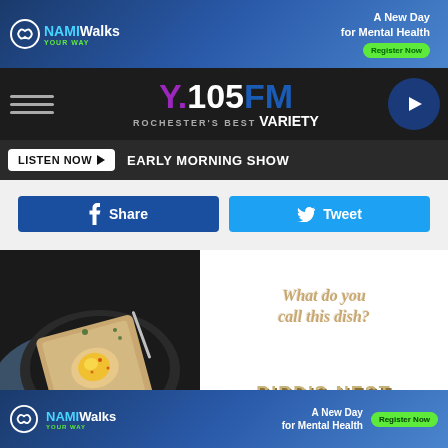[Figure (photo): NAMI Walks Your Way advertisement banner - blue gradient background with NAMI Walks logo, person in background, text 'A New Day for Mental Health' and 'Register Now' green button]
[Figure (logo): Y.105FM Rochester's Best Variety radio station logo on dark background with hamburger menu and play button]
LISTEN NOW ▶  EARLY MORNING SHOW
[Figure (screenshot): Social share buttons: Facebook Share (dark blue) and Tweet (light blue)]
[Figure (photo): Food photo of egg cooked in toast (bird's nest) on dark plate with fork and spoon on blue cloth]
What do you call this dish?
BIRD'S NEST
[Figure (photo): NAMI Walks Your Way advertisement banner at bottom - same as top banner]